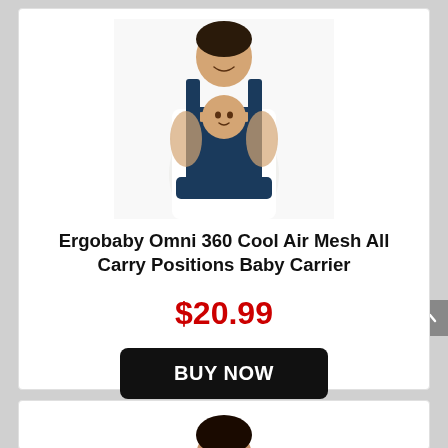[Figure (photo): A man wearing a navy blue Ergobaby Omni 360 baby carrier with an infant inside, against a white background.]
Ergobaby Omni 360 Cool Air Mesh All Carry Positions Baby Carrier
$20.99
BUY NOW
target.com
[Figure (photo): Partial view of another product listing below, showing the top of a person's head.]